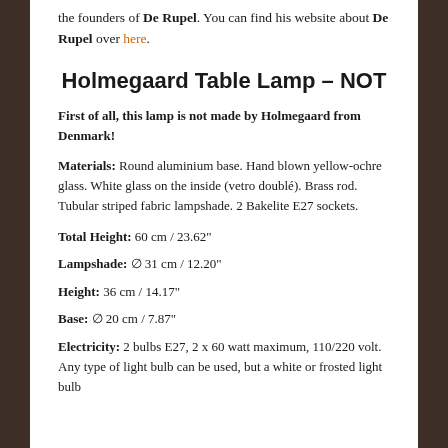the founders of De Rupel. You can find his website about De Rupel over here.
Holmegaard Table Lamp – NOT
First of all, this lamp is not made by Holmegaard from Denmark!
Materials: Round aluminium base. Hand blown yellow-ochre glass. White glass on the inside (vetro doublé). Brass rod. Tubular striped fabric lampshade. 2 Bakelite E27 sockets.
Total Height: 60 cm / 23.62"
Lampshade: ∅ 31 cm / 12.20"
Height: 36 cm / 14.17"
Base: ∅ 20 cm / 7.87"
Electricity: 2 bulbs E27, 2 x 60 watt maximum, 110/220 volt. Any type of light bulb can be used, but a white or frosted light bulb